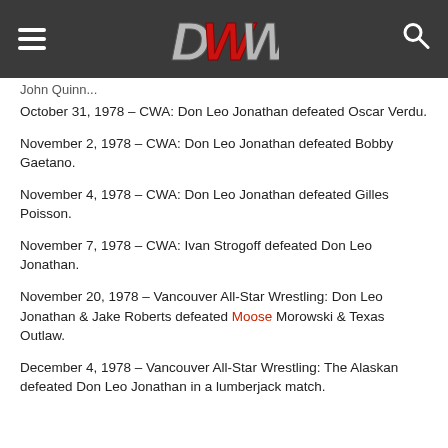OWW (logo) navigation header
John Quinn...
October 31, 1978 – CWA: Don Leo Jonathan defeated Oscar Verdu.
November 2, 1978 – CWA: Don Leo Jonathan defeated Bobby Gaetano.
November 4, 1978 – CWA: Don Leo Jonathan defeated Gilles Poisson.
November 7, 1978 – CWA: Ivan Strogoff defeated Don Leo Jonathan.
November 20, 1978 – Vancouver All-Star Wrestling: Don Leo Jonathan & Jake Roberts defeated Moose Morowski & Texas Outlaw.
December 4, 1978 – Vancouver All-Star Wrestling: The Alaskan defeated Don Leo Jonathan in a lumberjack match.